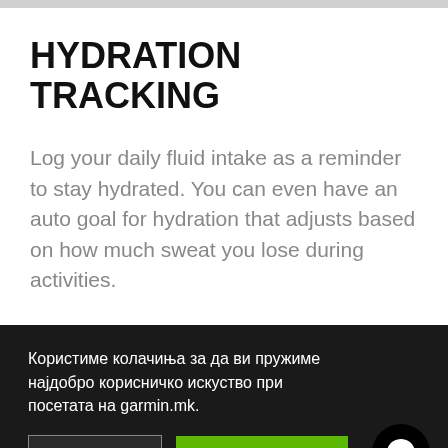HYDRATION TRACKING
Log your daily fluid intake as a reminder to stay hydrated. You can even have an auto goal for hydration that adjusts based on how much sweat you lose during activities.
Користиме колачиња за да ви пружиме најдобро корисничко искуство при посетата на garmin.mk.
Подесување
Прифати ги сите